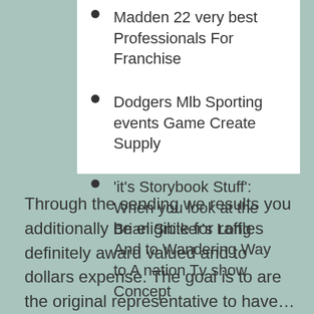Madden 22 very best Professionals For Franchise
Dodgers Mlb Sporting events Game Create Supply
'it's Storybook Stuff': When you look at the Brian Snitker's Long And to Wandering Way to A nation Tv show Concept
Through the sending we results you additionally be eligible for raffles definitely award valued and to dollars expense. The goal is to are the original representative to have…